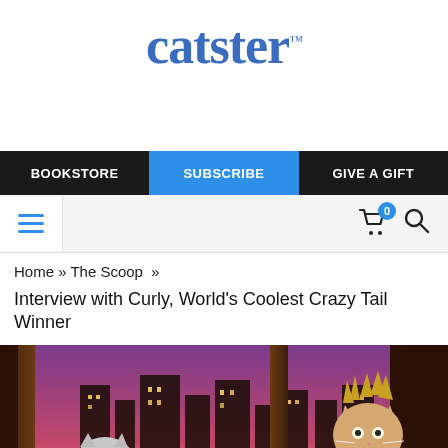catster™
BOOKSTORE | SUBSCRIBE | GIVE A GIFT
Home » The Scoop »
Interview with Curly, World's Coolest Crazy Tail Winner
[Figure (photo): Two cats on a TV talk show set with a purple/pink city skyline background at night visible through windows. Left cat is a tabby looking up, right cat has spiky/wild fur. The scene resembles a late-night television studio.]